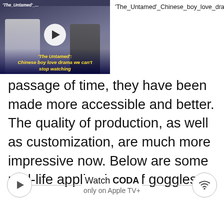[Figure (screenshot): Video thumbnail for 'The Untamed': Chinese boy love drama we can't stop watching, with play button overlay and header label 'The Untamed'_...]
'The_Untamed'_Chinese_boy_love_drama_we_can't_stop_watching_1080p
passage of time, they have been made more accessible and better. The quality of production, as well as customization, are much more impressive now. Below are some real-life applications of goggles.
[Figure (screenshot): Apple TV+ Watch CODA player bar with play button, horizontal line, 'Watch CODA / only on Apple TV+' text, and wifi icon button]